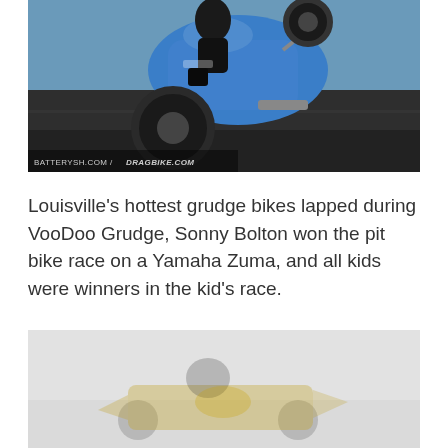[Figure (photo): Blue drag racing motorcycle performing a wheelie on a track, with photo credit: BATTERYSH.COM / DRAGBIKE.COM at the bottom left.]
Louisville's hottest grudge bikes lapped during VooDoo Grudge, Sonny Bolton won the pit bike race on a Yamaha Zuma, and all kids were winners in the kid's race.
[Figure (photo): Partially visible photo (faded/light) of what appears to be a go-kart or small racing vehicle with a yellow body and dark wheels on a track.]